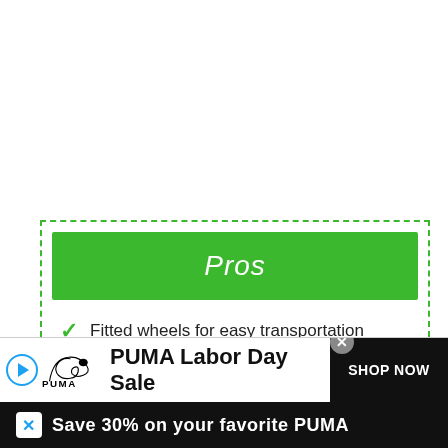Pros
Fitted wheels for easy transportation
Xtra soft cushion system
[Figure (screenshot): PUMA Labor Day Sale advertisement banner at the bottom of the page with PUMA logo, 'PUMA Labor Day Sale' text, 'Shop Now' button, and 'Save 30% on your favorite PUMA' text on dark strip.]